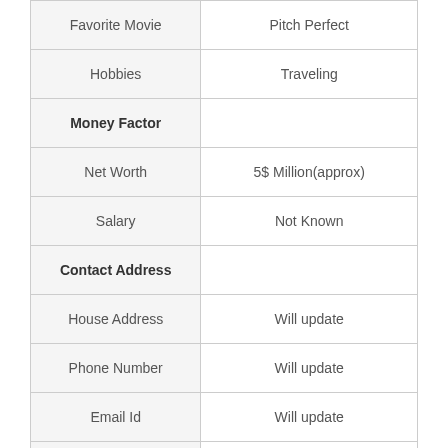| Field | Value |
| --- | --- |
| Favorite Movie | Pitch Perfect |
| Hobbies | Traveling |
| Money Factor |  |
| Net Worth | 5$ Million(approx) |
| Salary | Not Known |
| Contact Address |  |
| House Address | Will update |
| Phone Number | Will update |
| Email Id | Will update |
| Website | benplattmusic.com |
| Social Media |  |